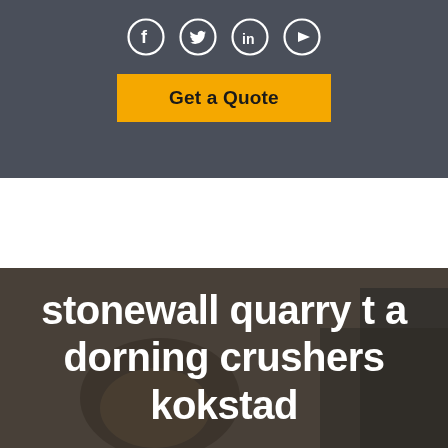Social icons: Facebook, Twitter, LinkedIn, YouTube
Get a Quote
[Figure (photo): Dark-toned hero image with a basket and fireplace in background, overlaid with white bold text reading 'stonewall quarry t a dorning crushers kokstad']
stonewall quarry t a dorning crushers kokstad